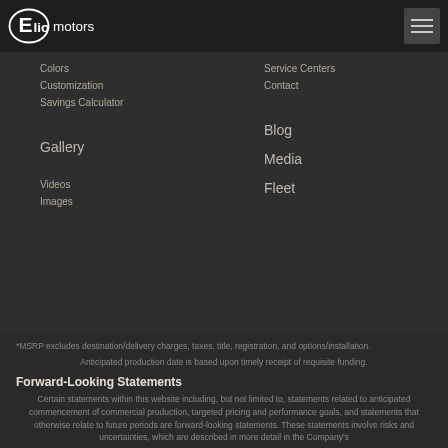Elio Motors
Colors
Customization
Savings Calculator
Service Centers
Contact
Gallery
Blog
Videos
Images
Media
Fleet
*MSRP excludes destination/delivery charges, taxes, title, registration, and options/installation.
Anticipated production date is based upon timely receipt of requisite funding.
Forward-Looking Statements
Certain statements within this website including, but not limited to, statements related to anticipated commencement of commercial production, targeted pricing and performance goals, and statements that otherwise relate to future periods are forward-looking statements. These statements involve risks and uncertainties, which are described in more detail in the Company's